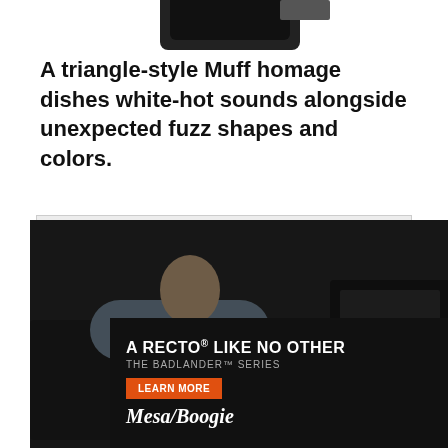A triangle-style Muff homage dishes white-hot sounds alongside unexpected fuzz shapes and colors.
[Figure (photo): Video thumbnail showing a person playing electric guitar in front of amplifiers, with a play button overlay]
nes
d Design
Ease Of Use
Cons:
Fans of smooth, Sovtek-style max... max... harsh...
Street:
[Figure (photo): Mesa/Boogie Badlander Series amplifier advertisement with text 'A RECTO LIKE NO OTHER - THE BADLANDER SERIES' and a Learn More button]